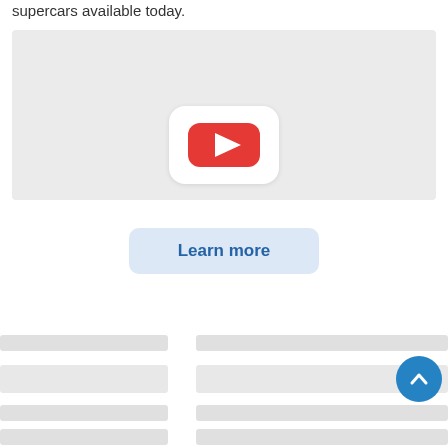supercars available today.
[Figure (screenshot): YouTube video embed placeholder with gray background and YouTube play button icon centered]
[Figure (other): Learn more button with light blue background and blue bold text]
[Figure (other): Skeleton loading placeholder rows at the bottom of the page in two columns with gray bars]
[Figure (other): Scroll-to-top circular blue button with upward chevron arrow, bottom right]